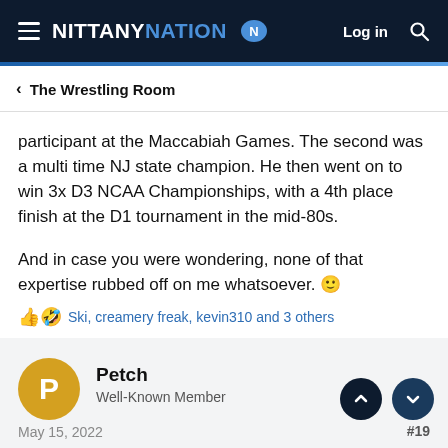NITTANY NATION — Log in
< The Wrestling Room
participant at the Maccabiah Games. The second was a multi time NJ state champion. He then went on to win 3x D3 NCAA Championships, with a 4th place finish at the D1 tournament in the mid-80s.

And in case you were wondering, none of that expertise rubbed off on me whatsoever. 😊
Ski, creamery freak, kevin310 and 3 others
Petch
Well-Known Member
May 15, 2022  #19